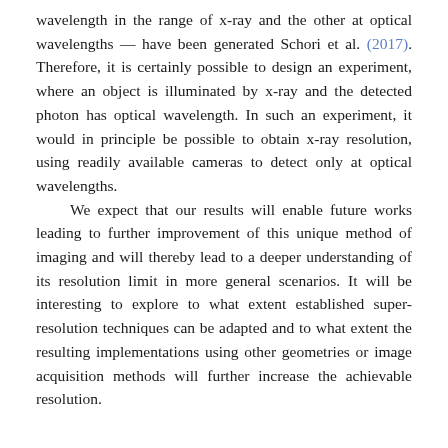wavelength in the range of x-ray and the other at optical wavelengths — have been generated Schori et al. (2017). Therefore, it is certainly possible to design an experiment, where an object is illuminated by x-ray and the detected photon has optical wavelength. In such an experiment, it would in principle be possible to obtain x-ray resolution, using readily available cameras to detect only at optical wavelengths.

We expect that our results will enable future works leading to further improvement of this unique method of imaging and will thereby lead to a deeper understanding of its resolution limit in more general scenarios. It will be interesting to explore to what extent established super-resolution techniques can be adapted and to what extent the resulting implementations using other geometries or image acquisition methods will further increase the achievable resolution.